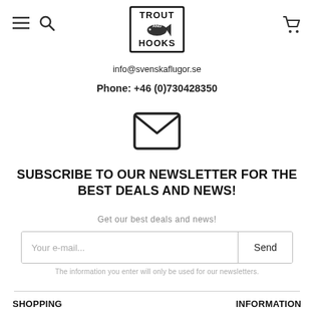Trout and Hooks — info@svenskaflugor.se — Phone: +46 (0)730428350
[Figure (logo): Trout and Hooks fishing logo with text TROUT HOOKS and fish illustration]
info@svenskaflugor.se
Phone: +46 (0)730428350
[Figure (illustration): Envelope/mail icon, black outline]
SUBSCRIBE TO OUR NEWSLETTER FOR THE BEST DEALS AND NEWS!
Get our best deals and news!
Your e-mail...
The information you enter will only be used for our newsletters.
SHOPPING
INFORMATION